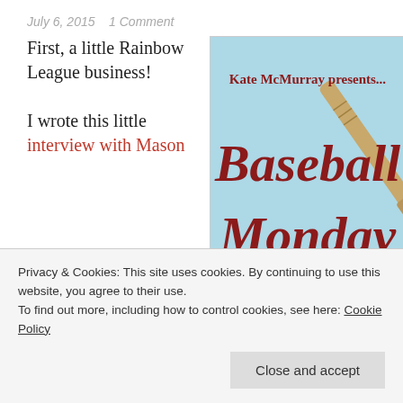July 6, 2015   1 Comment
First, a little Rainbow League business!

I wrote this little interview with Mason
[Figure (illustration): Book/event promotional image for 'Baseball Monday' by Kate McMurray. Light blue background with a baseball bat leaning diagonally. Red cursive text reads 'Baseball Monday' with 'Kate McMurray presents...' at the top in dark red. A home plate and grass with baseball visible at the bottom.]
Privacy & Cookies: This site uses cookies. By continuing to use this website, you agree to their use.
To find out more, including how to control cookies, see here: Cookie Policy
Close and accept
your choice.